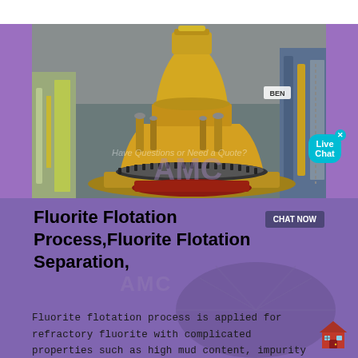[Figure (photo): Industrial yellow cone crusher machine photographed in a warehouse/factory setting. Large yellow metal crushing equipment with cylindrical top section, gear rings, and hydraulic cylinders visible.]
Fluorite Flotation Process,Fluorite Flotation Separation,
Fluorite flotation process is applied for refractory fluorite with complicated properties such as high mud content, impurity containing, fine particle distribution etc. Our fluorite flotation process has many advantages including automatic